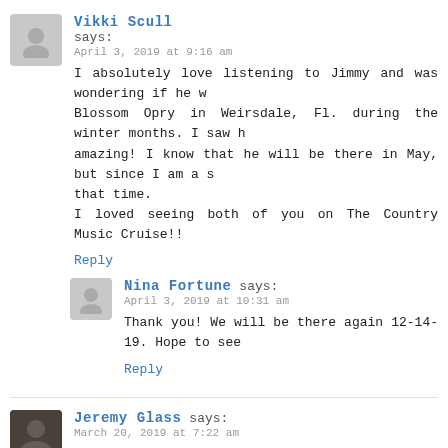Vikki Scull says:
April 3, 2019 at 9:16 am
I absolutely love listening to Jimmy and was wondering if he would come to the Orange Blossom Opry in Weirsdale, Fl. during the winter months. I saw him there once and he was amazing! I know that he will be there in May, but since I am a snowbird I won't be there at that time.
I loved seeing both of you on The Country Music Cruise!!
Reply
Nina Fortune says:
April 3, 2019 at 10:31 am
Thank you! We will be there again 12-14-19. Hope to see you!
Reply
Jeremy Glass says:
March 20, 2019 at 7:22 am
I hope to attend a concert if Jimmy ever makes it over to Houston, TX. I've been a fan since the early 90s when I first found out about him. He is an amazing singer and songwriter. I highly respect that work.